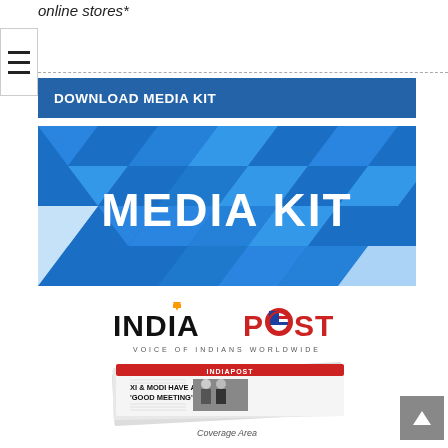online stores*
DOWNLOAD MEDIA KIT
[Figure (illustration): Media Kit promotional image for India Post newspaper, showing the 'MEDIA KIT' title in white bold text over a blue geometric mosaic background, the India Post logo with 'VOICE OF INDIANS WORLDWIDE' tagline, and a stack of India Post newspapers with headline 'XI & MODI HAVE A GOOD MEETING']
Coverage Area